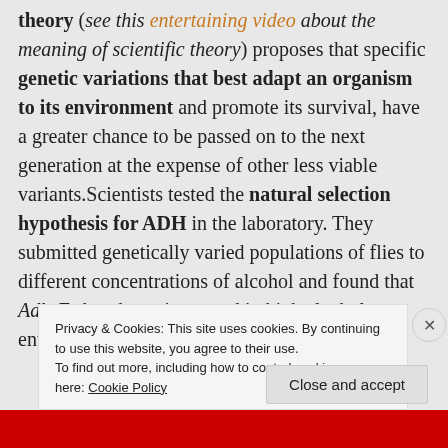theory (see this entertaining video about the meaning of scientific theory) proposes that specific genetic variations that best adapt an organism to its environment and promote its survival, have a greater chance to be passed on to the next generation at the expense of other less viable variants.Scientists tested the natural selection hypothesis for ADH in the laboratory. They submitted genetically varied populations of flies to different concentrations of alcohol and found that Adh-F abundance increased in high alcohol environments. This is in agreement with
Privacy & Cookies: This site uses cookies. By continuing to use this website, you agree to their use.
To find out more, including how to control cookies, see here: Cookie Policy
Close and accept